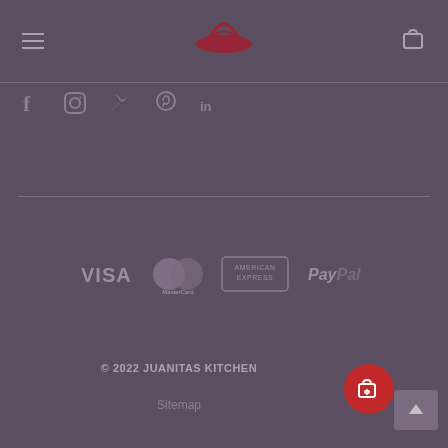Juanitas Kitchen header with hamburger menu and logo
[Figure (logo): Juanitas Kitchen logo in red, centered in header]
[Figure (infographic): Social media icons: Facebook, Instagram, Twitter, Pinterest, LinkedIn in muted purple/grey]
[Figure (infographic): Payment method logos: VISA, MasterCard, American Express, PayPal in grey on purple background]
© 2022 JUANITAS KITCHEN
Sitemap